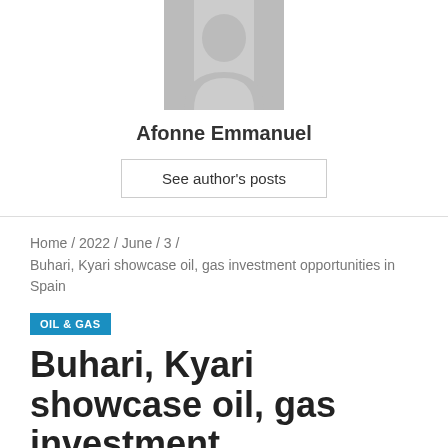[Figure (illustration): Gray placeholder avatar/profile image showing a generic person silhouette]
Afonne Emmanuel
See author's posts
Home /  2022 /  June /  3 /
Buhari, Kyari showcase oil, gas investment opportunities in Spain
OIL & GAS
Buhari, Kyari showcase oil, gas investment